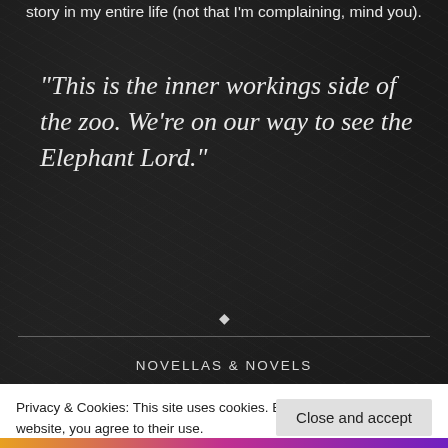story in my entire life (not that I'm complaining, mind you).
“This is the inner workings side of the zoo. We’re on our way to see the Elephant Lord.”
NOVELLAS & NOVELS
Privacy & Cookies: This site uses cookies. By continuing to use this website, you agree to their use.
To find out more, including how to control cookies, see here: Cookie Policy